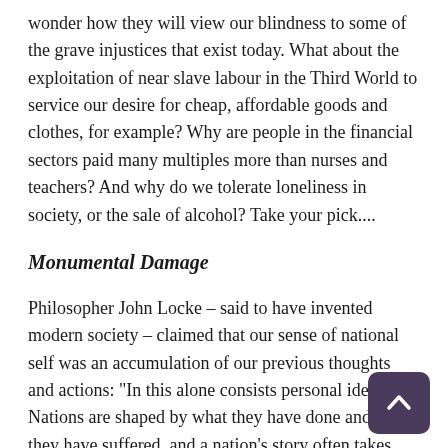wonder how they will view our blindness to some of the grave injustices that exist today. What about the exploitation of near slave labour in the Third World to service our desire for cheap, affordable goods and clothes, for example? Why are people in the financial sectors paid many multiples more than nurses and teachers? And why do we tolerate loneliness in society, or the sale of alcohol? Take your pick....
Monumental Damage
Philosopher John Locke – said to have invented modern society – claimed that our sense of national self was an accumulation of our previous thoughts and actions: “In this alone consists personal identity”. Nations are shaped by what they have done and how they have suffered, and a nation’s story often takes physical form in memorials.
If I say “France”, an idea comes to you of probably the Tower or Notre Dame – whatever the image is, the chances